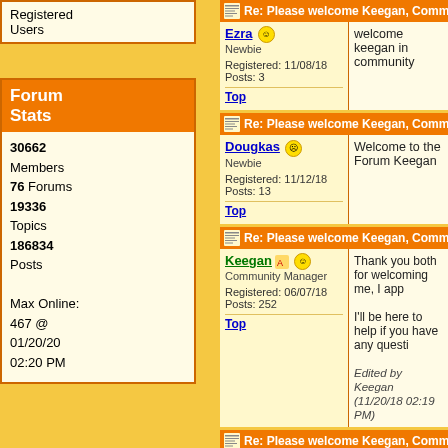Registered Users
Forum Stats
30662 Members 76 Forums 19336 Topics 186834 Posts Max Online: 467 @ 01/20/20 02:20 PM
Re: Please welcome Keegan, Community Manager!
Ezra
Newbie
Registered: 11/08/18
Posts: 3
Top
welcome keegan in community
Re: Please welcome Keegan, Community Manager!
Dougkas
Newbie
Registered: 11/12/18
Posts: 13
Top
Welcome to the Forum Keegan
Re: Please welcome Keegan, Community Manager!
Keegan
Community Manager
Registered: 06/07/18
Posts: 252
Top
Thank you both for welcoming me, I app...
I'll be here to help if you have any questi...
Edited by Keegan (11/20/18 02:19 PM)
Re: Please welcome Keegan, Community Manager!
lindasch
Newbie
WHEN WHEN WHEN ARE YOU GOING TO FIX ???????????????????????????????????...